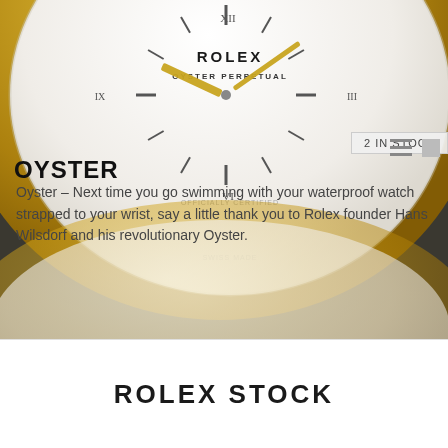[Figure (photo): Close-up photograph of a Rolex Oyster Perpetual watch face showing white dial with gold bezel, Roman numerals, and ROLEX OYSTER PERPETUAL text]
2 IN STOCK
OYSTER
Oyster – Next time you go swimming with your waterproof watch strapped to your wrist, say a little thank you to Rolex founder Hans Wilsdorf and his revolutionary Oyster.
ROLEX STOCK